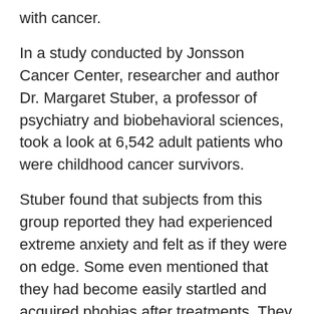with cancer.
In a study conducted by Jonsson Cancer Center, researcher and author Dr. Margaret Stuber, a professor of psychiatry and biobehavioral sciences, took a look at 6,542 adult patients who were childhood cancer survivors.
Stuber found that subjects from this group reported they had experienced extreme anxiety and felt as if they were on edge. Some even mentioned that they had become easily startled and acquired phobias after treatments. They had even begun to avoid things that would trigger memories of having had cancer. Some symptoms were so severe survivors said they weren’t able to function normally.
“Childhood cancer survivors, like others with PTSD, have been exposed to an event that made them feel very frightened or helpless or horrified,” said Stuber who also suggests that today’s treatments are not as harsh as compared to the group he surveyed. Children